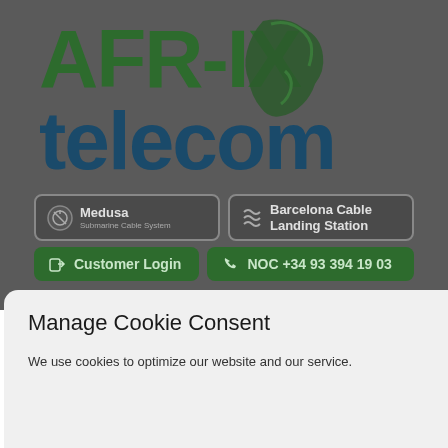[Figure (logo): AFR-IX telecom logo with African continent map shape in dark green, along with Medusa Submarine Cable System and Barcelona Cable Landing Station buttons, Customer Login button, NOC phone number +34 93 394 19 03, and FR/EN language selectors]
Manage Cookie Consent
We use cookies to optimize our website and our service.